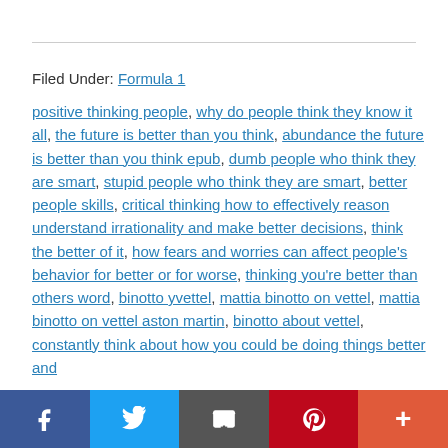Filed Under: Formula 1
positive thinking people, why do people think they know it all, the future is better than you think, abundance the future is better than you think epub, dumb people who think they are smart, stupid people who think they are smart, better people skills, critical thinking how to effectively reason understand irrationality and make better decisions, think the better of it, how fears and worries can affect people's behavior for better or for worse, thinking you're better than others word, binotto yvettel, mattia binotto on vettel, mattia binotto on vettel aston martin, binotto about vettel, constantly think about how you could be doing things better and
f  [twitter]  [email]  p  +